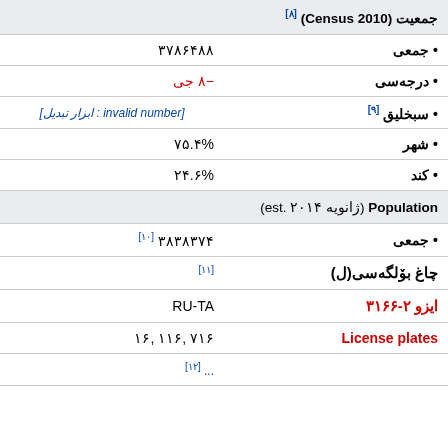| label | value |
| --- | --- |
| جمعیت (Census 2010)[۸] |  |
| • جمعی | ۳۷۸۶۴۸۸ |
| • درجه‌سی | −۸ جی |
| • سبخلیق[۹] | [ابزار تبدیل: invalid number] |
| • شهر | ۷۵.۴% |
| • کند | ۲۴.۶% |
| Population (ژانویه ۲۰۱۴ .est) |  |
| • جمعی | ۳۸۳۸۳۷۴[۱۰] |
| چاغ بۆلگه‌سی(ل) | [۱۱] |
| ایزو ۲-۳۱۶۶ | RU-TA |
| License plates | ۷۱۶ ,۱۱۶ ,۱۶ |
|  | ... |